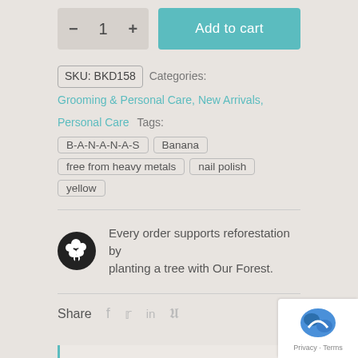[Figure (other): Quantity selector with minus and plus buttons showing 1, and an Add to cart button in teal]
SKU: BKD158   Categories: Grooming & Personal Care, New Arrivals, Personal Care   Tags:
B-A-N-A-N-A-S
Banana
free from heavy metals
nail polish
yellow
Every order supports reforestation by planting a tree with Our Forest.
Share
Description
New Shades, New Formula, New